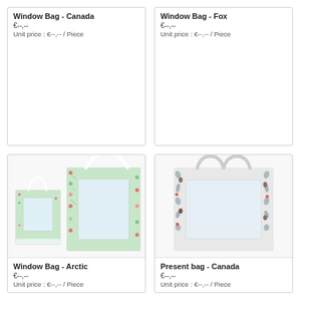[Figure (photo): Window Bag - Canada product (top, partially cropped)]
Window Bag - Canada
€--,--
Unit price : €--,-- / Piece
[Figure (photo): Window Bag - Fox product (top, partially cropped)]
Window Bag - Fox
€--,--
Unit price : €--,-- / Piece
[Figure (photo): Window Bag - Arctic product showing two floral/winter patterned gift bags with clear window and white rope handles]
Window Bag - Arctic
€--,--
Unit price : €--,-- / Piece
[Figure (photo): Present bag - Canada product showing a winter pine/pinecone patterned gift bag with clear window and white ribbon handles]
Present bag - Canada
€--,--
Unit price : €--,-- / Piece